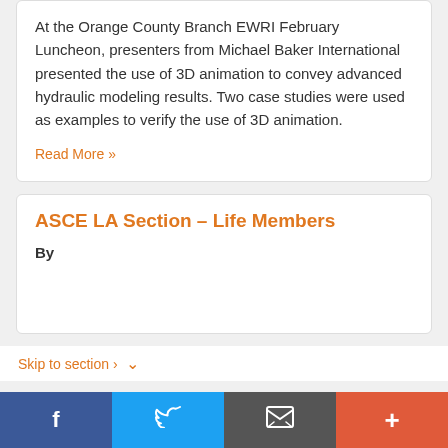At the Orange County Branch EWRI February Luncheon, presenters from Michael Baker International presented the use of 3D animation to convey advanced hydraulic modeling results. Two case studies were used as examples to verify the use of 3D animation.
Read More »
ASCE LA Section - Life Members
By
Skip to section ›